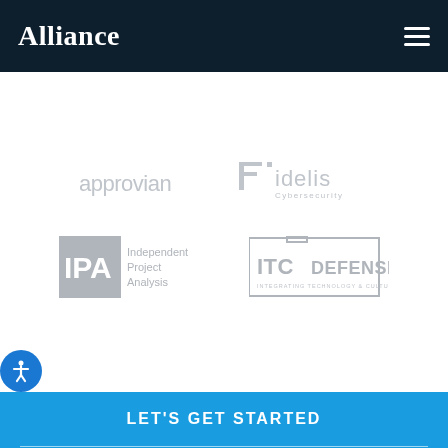Alliance
[Figure (logo): Approvian logo in light gray]
[Figure (logo): Fidelis Cybersecurity logo in light gray]
[Figure (logo): IPA Independent Project Analysis logo in gray]
[Figure (logo): ITC Defense logo in gray]
LET'S GET STARTED
Name
Email